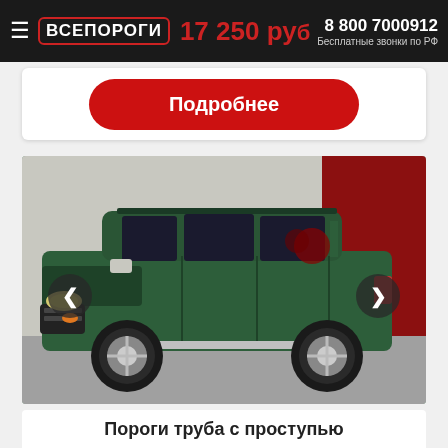≡ ВСЕПОРОГИ   17 250 руб   8 800 7000912  Бесплатные звонки по РФ
[Figure (other): Red rounded button with white bold text 'Подробнее']
[Figure (photo): Photo of a dark green Mitsubishi Pajero Sport SUV parked outside, with navigation arrows on left and right]
Пороги труба с проступью